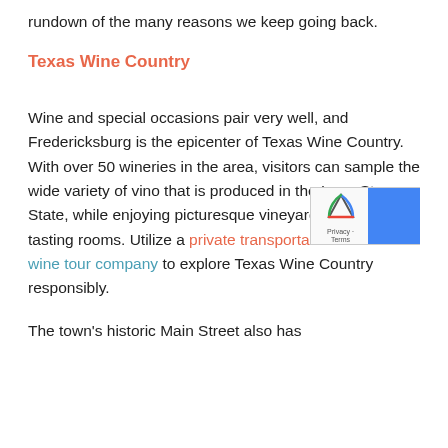rundown of the many reasons we keep going back.
Texas Wine Country
Wine and special occasions pair very well, and Fredericksburg is the epicenter of Texas Wine Country. With over 50 wineries in the area, visitors can sample the wide variety of vino that is produced in the Lone Star State, while enjoying picturesque vineyards or boutique tasting rooms. Utilize a private transportation service or a wine tour company to explore Texas Wine Country responsibly.
The town's historic Main Street also has